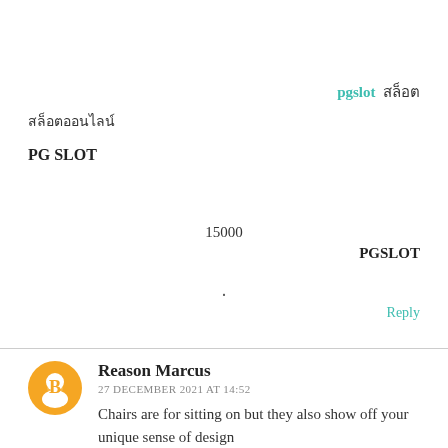pgslot สล็อต
สล็อตออนไลน์
PG SLOT
15000
PGSLOT
.
Reply
Reason Marcus
27 DECEMBER 2021 AT 14:52
Chairs are for sitting on but they also show off your unique sense of design